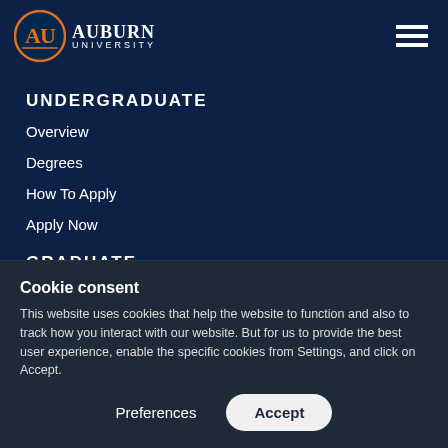[Figure (logo): Auburn University logo with interlocking AU letters in orange and blue, with the text AUBURN UNIVERSITY]
UNDERGRADUATE
Overview
Degrees
How To Apply
Apply Now
GRADUATE
Cookie consent
This website uses cookies that help the website to function and also to track how you interact with our website. But for us to provide the best user experience, enable the specific cookies from Settings, and click on Accept.
Preferences
Accept